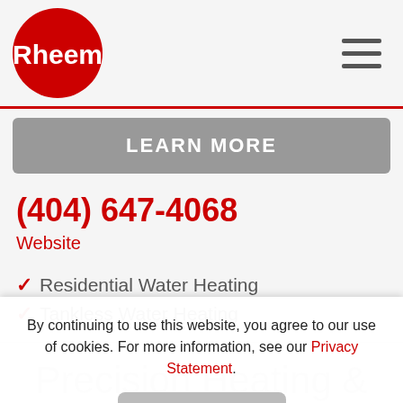Rheem logo and navigation menu
LEARN MORE
(404) 647-4068
Website
Residential Water Heating
Tankless Water Heating
★★★★½ (91)
By continuing to use this website, you agree to our use of cookies. For more information, see our Privacy Statement.
OK
Precision Heating & Air / Dallas